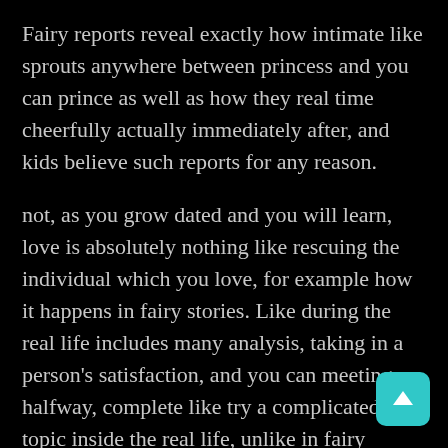Fairy reports reveal exactly how intimate like sprouts anywhere between princess and you can prince as well as how they real time cheerfully actually immediately after, and kids believe such reports for any reason.
not, as you grow dated and you will learn, love is absolutely nothing like rescuing the individual which you love, for example how it happens in fairy stories. Like during the real life includes many analysis, taking in a person's satisfaction, and you can meeting halfway, complete like try a complicated topic inside the real life, unlike in fairy stories.
Like is something that plants when a couple of some one share attitude